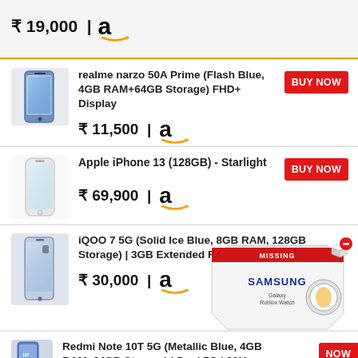₹ 19,000 | Amazon
[Figure (photo): Realme narzo 50A Prime phone image (Flash Blue)]
realme narzo 50A Prime (Flash Blue, 4GB RAM+64GB Storage) FHD+ Display
₹ 11,500 | Amazon
BUY NOW
[Figure (photo): Apple iPhone 13 Starlight image]
Apple iPhone 13 (128GB) - Starlight
₹ 69,900 | Amazon
BUY NOW
[Figure (photo): iQOO 7 5G Solid Ice Blue phone image]
iQOO 7 5G (Solid Ice Blue, 8GB RAM, 128GB Storage) | 3GB Extended RAM |
₹ 30,000 | Amazon
[Figure (photo): Samsung Galaxy Watch product box advertisement overlay]
[Figure (photo): Redmi Note 10T 5G Metallic Blue phone image]
Redmi Note 10T 5G (Metallic Blue, 4GB RAM, 64GB Storage) | Dual 5G | 90Hz
BUY NOW